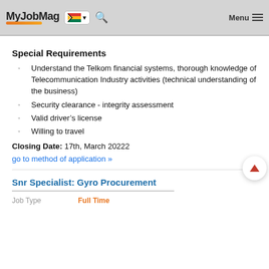MyJobMag Menu
Special Requirements
Understand the Telkom financial systems, thorough knowledge of Telecommunication Industry activities (technical understanding of the business)
Security clearance - integrity assessment
Valid driver’s license
Willing to travel
Closing Date: 17th, March 20222
go to method of application »
Snr Specialist: Gyro Procurement
Job Type  Full Time